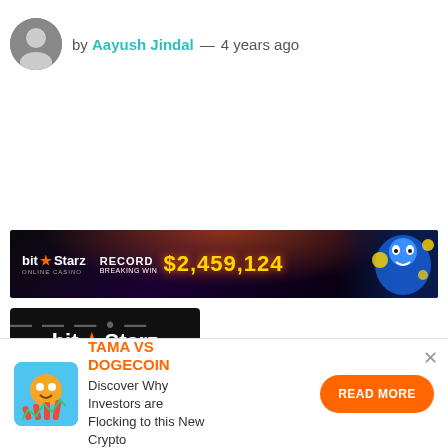by Aayush Jindal — 4 years ago
[Figure (screenshot): BitStarz online casino banner ad showing 'RECORD BREAKING WIN $2,459,124' with a blue genie character on dark background with fire effects]
[Figure (logo): BitStarz Award Winning Casino logo on black background]
TAMA VS DOGECOIN — Discover Why Investors are Flocking to this New Crypto — READ MORE